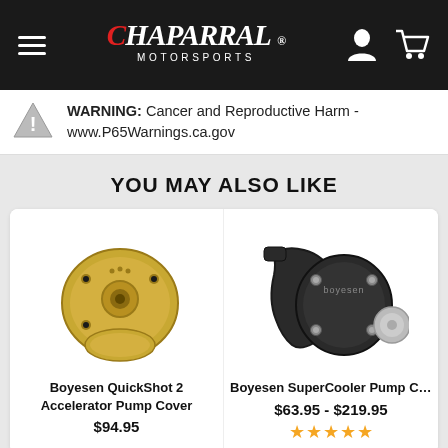Chaparral Motorsports
WARNING: Cancer and Reproductive Harm - www.P65Warnings.ca.gov
YOU MAY ALSO LIKE
[Figure (photo): Boyesen QuickShot 2 Accelerator Pump Cover product image - gold/brass colored circular pump cover with machined finish and QS2 text]
Boyesen QuickShot 2 Accelerator Pump Cover
$94.95
[Figure (photo): Boyesen SuperCooler Pump Cover And Impeller product image - black anodized pump cover with hose connector and silver impeller]
Boyesen SuperCooler Pump Cover And Impe...
$63.95 - $219.95
★★★★★